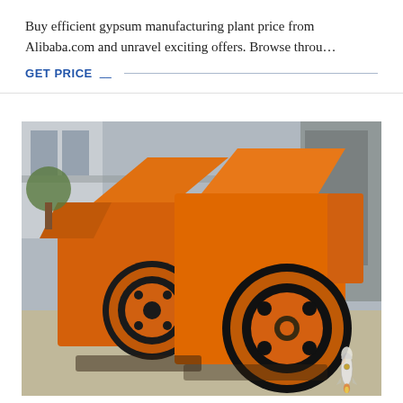Buy efficient gypsum manufacturing plant price from Alibaba.com and unravel exciting offers. Browse throu…
GET PRICE
[Figure (photo): Photo of large orange industrial gypsum manufacturing/crushing machinery with circular flywheel components, placed outdoors on a concrete surface with industrial buildings in the background. A small rocket icon watermark appears in the lower right corner.]